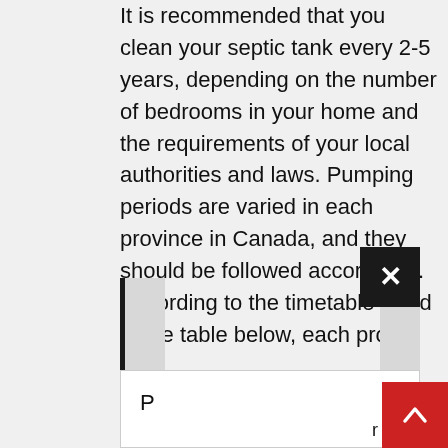It is recommended that you clean your septic tank every 2-5 years, depending on the number of bedrooms in your home and the requirements of your local authorities and laws. Pumping periods are varied in each province in Canada, and they should be followed accordingly. According to the timetable listed in the table below, each pro...